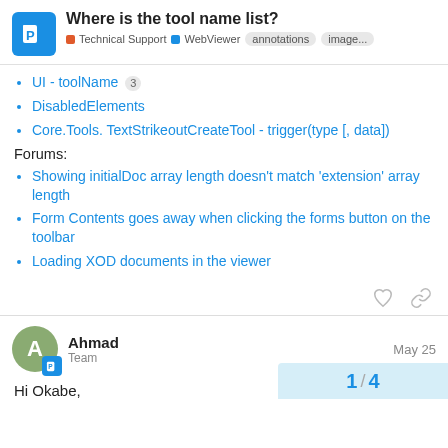Where is the tool name list? — Technical Support | WebViewer | annotations | image...
UI - toolName 3
DisabledElements
Core.Tools. TextStrikeoutCreateTool - trigger(type [, data])
Forums:
Showing initialDoc array length doesn't match 'extension' array length
Form Contents goes away when clicking the forms button on the toolbar
Loading XOD documents in the viewer
Ahmad
Team
May 25
Hi Okabe,
1 / 4